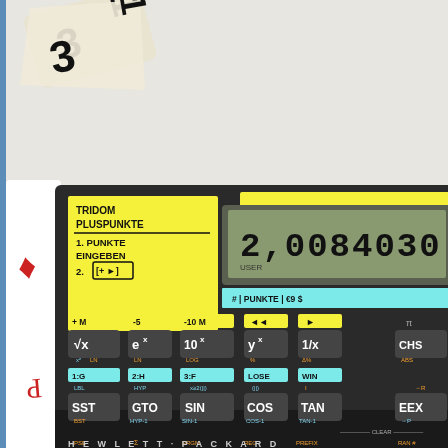[Figure (photo): A Hewlett-Packard scientific calculator (HP-41 series) with custom yellow and cyan sticky note labels written in German and English. Yellow label reads 'TRIDOM PLUSPUNKTE / 1. PUNKTE EINGEBEN / 2. [+►]'. A yellow strip at top reads '# PUNKTE STRAPP. TOTAL'. A cyan strip reads '# PUNKTE €9 $'. Yellow key labels show '+M', '-5', '-10M', '◄◄', '►'. Cyan labels show '1:G', '2:H', '3:F', 'LOSE', 'WIN'. Calculator display shows '2,0084030' with 'USER' indicator. Keys visible include √x, eˣ, 10ˣ, yˣ, 1/x, CHS/ABS, SST/BST, GTO/HYP-1, SIN/SIN-1, COS/COS-1, TAN/TAN-1, EEX/→P, R/S/P/R, GSB/RTN, R↓/R↑, x↔y/RND, ←/CLX, ENTER/LST×, ON, f (orange), g (blue), STO/INT, RCL/MEM. Bottom reads 'HEWLETT·PACKARD'. Dice with numbers 3 and 1 visible in top-left corner. Playing card with diamond suit visible on left edge.]